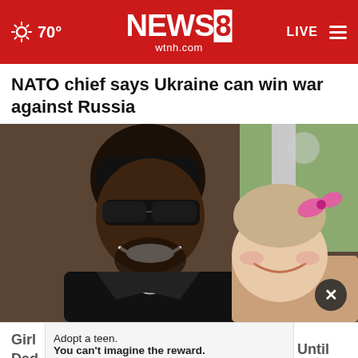NEWS 8 wtnh.com | 70° | LIVE
NATO chief says Ukraine can win war against Russia
[Figure (photo): A smiling man wearing sunglasses and a dark cap poses with a toddler girl wearing a pink bow in her hair.]
Girl ... Until Dad ...
Adopt a teen. You can't imagine the reward.